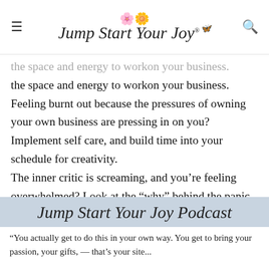Jump Start Your Joy
the space and energy to workon your business. Feeling burnt out because the pressures of owning your own business are pressing in on you? Implement self care, and build time into your schedule for creativity. The inner critic is screaming, and you're feeling overwhelmed? Look at the “why” behind the panic, and it will help you with your purpose.
[Figure (logo): Jump Start Your Joy Podcast banner with light blue-grey background and script text]
“You actually get to do this in your own way. You get to bring your passion, your gifts, — that’s your site...